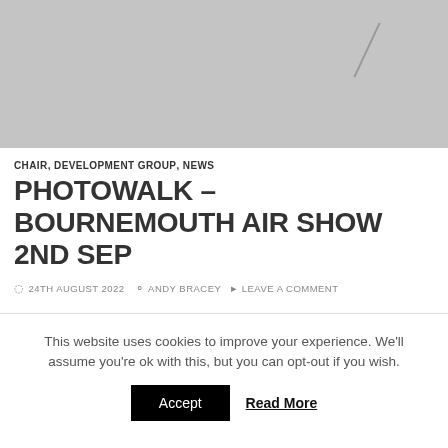[Figure (photo): Partially visible photo with grey/overcast sky, appears to be aerial or airshow related]
CHAIR, DEVELOPMENT GROUP, NEWS
PHOTOWALK – BOURNEMOUTH AIR SHOW 2ND SEP
24TH AUGUST 2022   ANDY BRACEY   LEAVE A COMMENT
This website uses cookies to improve your experience. We'll assume you're ok with this, but you can opt-out if you wish.